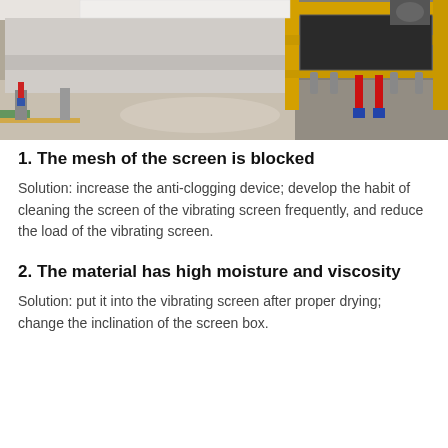[Figure (photo): Industrial vibrating screen machine in a factory facility. Left side shows a large flat press/table machine, right side shows yellow metal framed vibrating screen equipment with springs and red hydraulic cylinders. Concrete floor with yellow/green markings visible.]
1. The mesh of the screen is blocked
Solution: increase the anti-clogging device; develop the habit of cleaning the screen of the vibrating screen frequently, and reduce the load of the vibrating screen.
2. The material has high moisture and viscosity
Solution: put it into the vibrating screen after proper drying; change the inclination of the screen box.